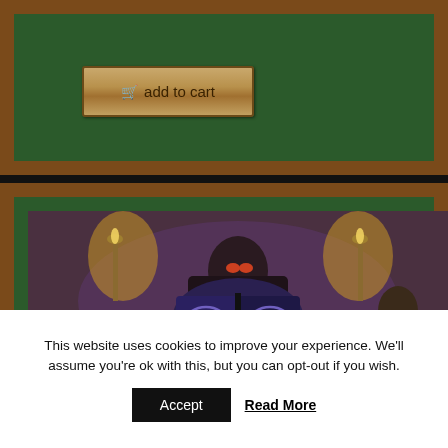[Figure (screenshot): Green felt background with wood border frame, containing an 'add to cart' button with shopping cart icon]
[Figure (illustration): Fantasy art illustration showing a dark robed figure reading a large ornate book, surrounded by glowing candelabras and skeletal figures, in purple and brown tones]
This website uses cookies to improve your experience. We'll assume you're ok with this, but you can opt-out if you wish.
Accept
Read More